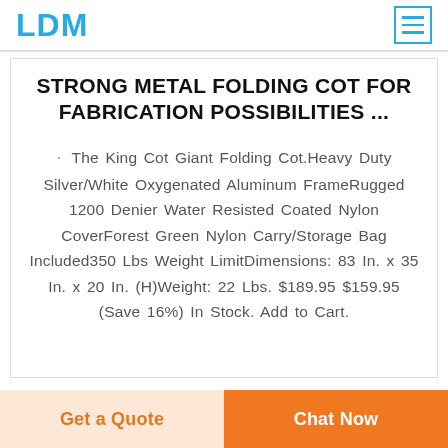LDM
STRONG METAL FOLDING COT FOR FABRICATION POSSIBILITIES ...
The King Cot Giant Folding Cot.Heavy Duty Silver/White Oxygenated Aluminum FrameRugged 1200 Denier Water Resisted Coated Nylon CoverForest Green Nylon Carry/Storage Bag Included350 Lbs Weight LimitDimensions: 83 In. x 35 In. x 20 In. (H)Weight: 22 Lbs. $189.95 $159.95 (Save 16%) In Stock. Add to Cart.
Get a Quote | Chat Now